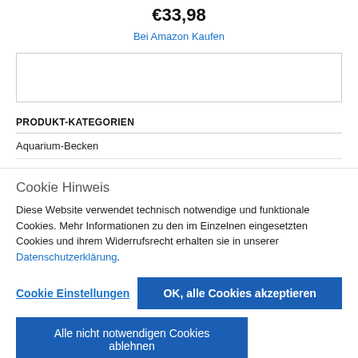€33,98
Bei Amazon Kaufen
[Figure (other): Empty image placeholder box]
PRODUKT-KATEGORIEN
Aquarium-Becken
Terrarien
Cookie Hinweis
Diese Website verwendet technisch notwendige und funktionale Cookies. Mehr Informationen zu den im Einzelnen eingesetzten Cookies und ihrem Widerrufsrecht erhalten sie in unserer Datenschutzerklärung.
Cookie Einstellungen | OK, alle Cookies akzeptieren | Alle nicht notwendigen Cookies ablehnen